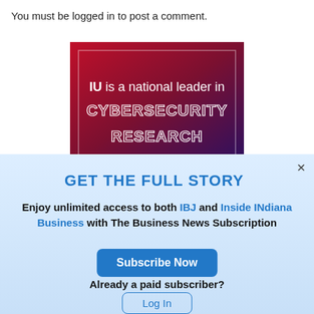You must be logged in to post a comment.
[Figure (illustration): IU cybersecurity advertisement banner with dark red/purple gradient background. Text reads: IU is a national leader in CYBERSECURITY RESEARCH with outlined/transparent lettering style.]
GET THE FULL STORY
Enjoy unlimited access to both IBJ and Inside INdiana Business with The Business News Subscription
Subscribe Now
Already a paid subscriber?
Log In